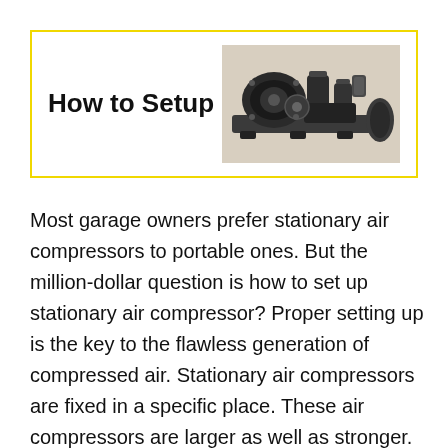How to Setup
[Figure (photo): Photo of a stationary air compressor unit, showing the motor and pump assembly on a base, dark/black coloring with visible mechanical components.]
Most garage owners prefer stationary air compressors to portable ones. But the million-dollar question is how to set up stationary air compressor? Proper setting up is the key to the flawless generation of compressed air. Stationary air compressors are fixed in a specific place. These air compressors are larger as well as stronger. You cannot move a stationary air compressor from one place to another. For this reason, you must be careful about the